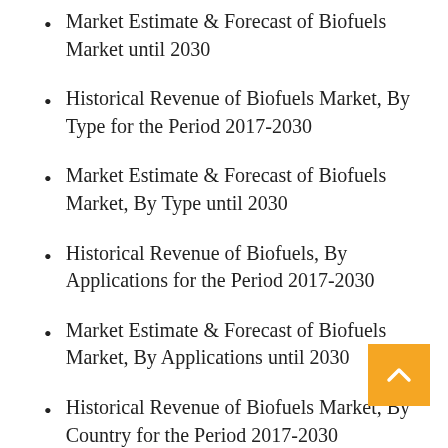Market Estimate & Forecast of Biofuels Market until 2030
Historical Revenue of Biofuels Market, By Type for the Period 2017-2030
Market Estimate & Forecast of Biofuels Market, By Type until 2030
Historical Revenue of Biofuels, By Applications for the Period 2017-2030
Market Estimate & Forecast of Biofuels Market, By Applications until 2030
Historical Revenue of Biofuels Market, By Country for the Period 2017-2030
Market Estimate & Forecast of Biofuels Market